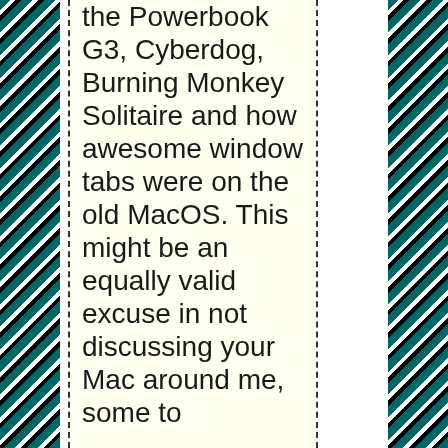the Powerbook G3, Cyberdog, Burning Monkey Solitaire and how awesome window tabs were on the old MacOS. This might be an equally valid excuse in not discussing your Mac around me, some to